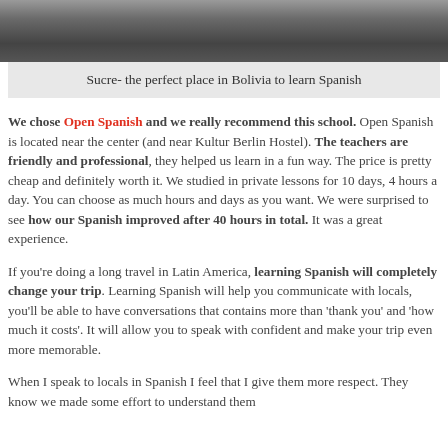[Figure (photo): Photograph of Sucre, Bolivia — dark/grey toned image of a building or street scene]
Sucre- the perfect place in Bolivia to learn Spanish
We chose Open Spanish and we really recommend this school. Open Spanish is located near the center (and near Kultur Berlin Hostel). The teachers are friendly and professional, they helped us learn in a fun way. The price is pretty cheap and definitely worth it. We studied in private lessons for 10 days, 4 hours a day. You can choose as much hours and days as you want. We were surprised to see how our Spanish improved after 40 hours in total. It was a great experience.
If you're doing a long travel in Latin America, learning Spanish will completely change your trip. Learning Spanish will help you communicate with locals, you'll be able to have conversations that contains more than 'thank you' and 'how much it costs'. It will allow you to speak with confident and make your trip even more memorable.
When I speak to locals in Spanish I feel that I give them more respect. They know we made some effort to understand them